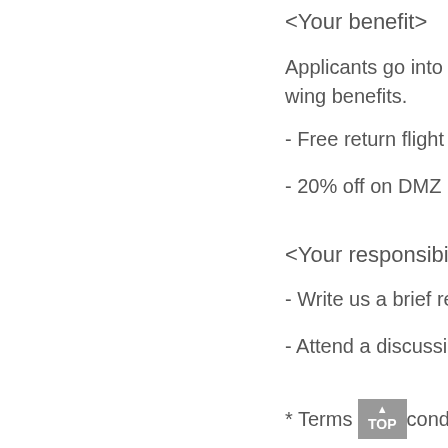<Your benefit>
Applicants go into a wing benefits.
- Free return flight
- 20% off on DMZ
<Your responsibility>
- Write us a brief re
- Attend a discussio
* Terms [TOP] condit